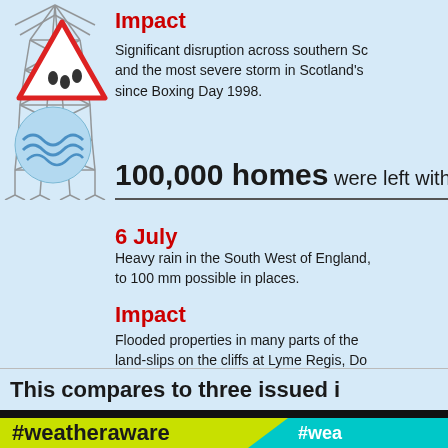[Figure (illustration): Grey electrical transmission tower/pylon illustration]
Impact
Significant disruption across southern Sc and the most severe storm in Scotland's since Boxing Day 1998.
100,000 homes were left witho
[Figure (illustration): Red triangle flood warning sign with raindrops, and a blue circle with wave/flood illustration]
6 July
Heavy rain in the South West of England, to 100 mm possible in places.
Impact
Flooded properties in many parts of the land-slips on the cliffs at Lyme Regis, Do
This compares to three issued i
#weatheraware
#wea